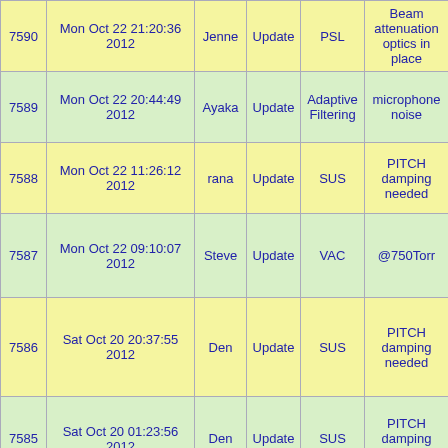| ID | Date/Time | Author | Type | Category | Subject |
| --- | --- | --- | --- | --- | --- |
| 7590 | Mon Oct 22 21:20:36 2012 | Jenne | Update | PSL | Beam attenuation optics in place |
| 7589 | Mon Oct 22 20:44:49 2012 | Ayaka | Update | Adaptive Filtering | microphone noise |
| 7588 | Mon Oct 22 11:26:12 2012 | rana | Update | SUS | PITCH damping needed |
| 7587 | Mon Oct 22 09:10:07 2012 | Steve | Update | VAC | @750Torr |
| 7586 | Sat Oct 20 20:37:55 2012 | Den | Update | SUS | PITCH damping needed |
| 7585 | Sat Oct 20 01:23:56 2012 | Den | Update | SUS | PITCH damping needed |
| 7584 | Fri Oct 19 ... | ... | Update | ... | vent has |